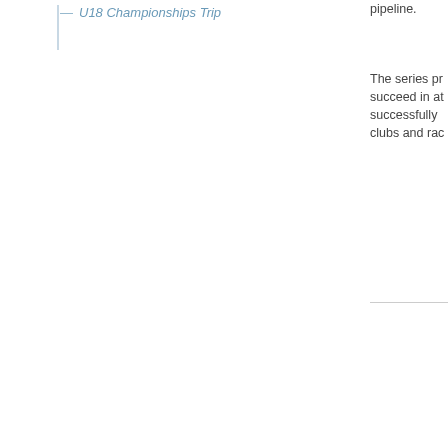U18 Championships Trip
pipeline.
The series pr succeed in at successfully clubs and rac